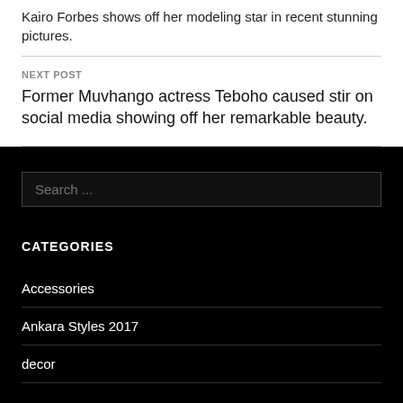Kairo Forbes shows off her modeling star in recent stunning pictures.
NEXT POST
Former Muvhango actress Teboho caused stir on social media showing off her remarkable beauty.
Search ...
CATEGORIES
Accessories
Ankara Styles 2017
decor